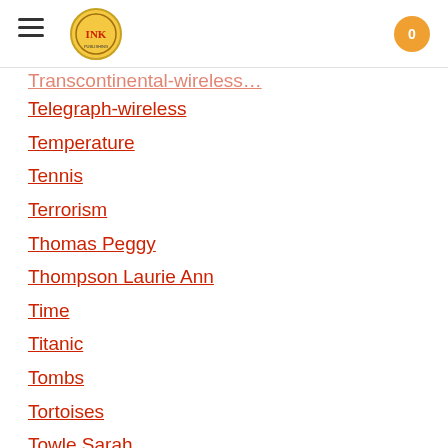INK — navigation header with hamburger menu and cart
Telegraph-wireless
Temperature
Tennis
Terrorism
Thomas Peggy
Thompson Laurie Ann
Time
Titanic
Tombs
Tortoises
Towle Sarah
Transcontinental-flights
Transportation
Travel